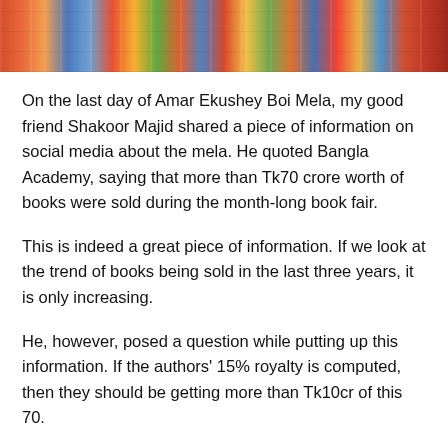[Figure (photo): Colorful books spread out on display at a book fair, viewed from above]
On the last day of Amar Ekushey Boi Mela, my good friend Shakoor Majid shared a piece of information on social media about the mela. He quoted Bangla Academy, saying that more than Tk70 crore worth of books were sold during the month-long book fair.
This is indeed a great piece of information. If we look at the trend of books being sold in the last three years, it is only increasing.
He, however, posed a question while putting up this information. If the authors' 15% royalty is computed, then they should be getting more than Tk10cr of this 70.
Now, my question is: Will this ever happen?